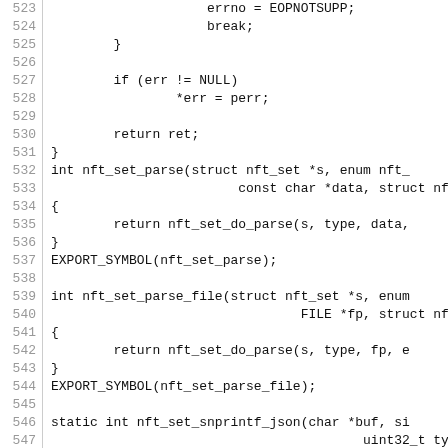Source code listing, lines 523–553, C code for nft_set parsing functions